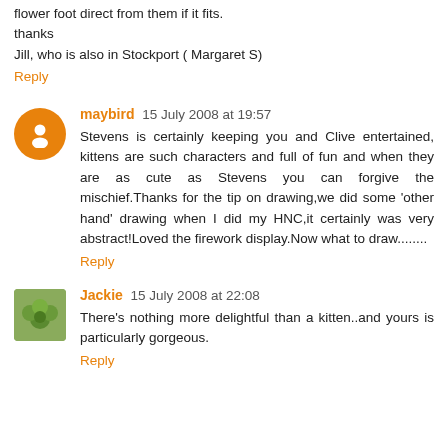flower foot direct from them if it fits.
thanks
Jill, who is also in Stockport ( Margaret S)
Reply
maybird  15 July 2008 at 19:57
Stevens is certainly keeping you and Clive entertained, kittens are such characters and full of fun and when they are as cute as Stevens you can forgive the mischief.Thanks for the tip on drawing,we did some 'other hand' drawing when I did my HNC,it certainly was very abstract!Loved the firework display.Now what to draw........
Reply
Jackie  15 July 2008 at 22:08
There's nothing more delightful than a kitten..and yours is particularly gorgeous.
Reply